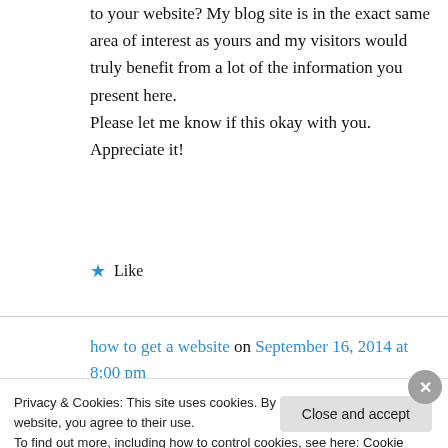to your website? My blog site is in the exact same area of interest as yours and my visitors would truly benefit from a lot of the information you present here. Please let me know if this okay with you. Appreciate it!
★ Like
how to get a website on September 16, 2014 at 8:00 pm
Privacy & Cookies: This site uses cookies. By continuing to use this website, you agree to their use. To find out more, including how to control cookies, see here: Cookie Policy